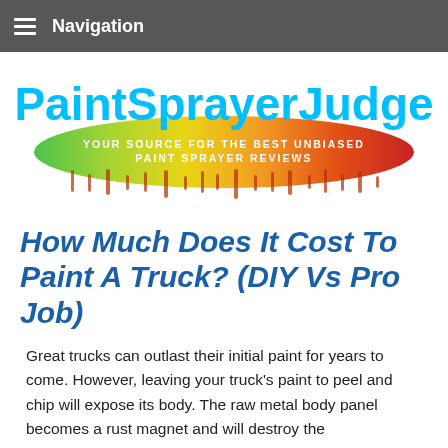Navigation
[Figure (logo): PaintSprayerJudge logo — bold cyan/blue text 'PaintSprayerJudge' above a rainbow-colored dripping paint arc with tagline 'YOUR SOURCE FOR THE BEST UNBIASED PAINT SPRAYER REVIEWS']
How Much Does It Cost To Paint A Truck? (DIY Vs Pro Job)
Great trucks can outlast their initial paint for years to come. However, leaving your truck's paint to peel and chip will expose its body. The raw metal body panel becomes a rust magnet and will destroy the